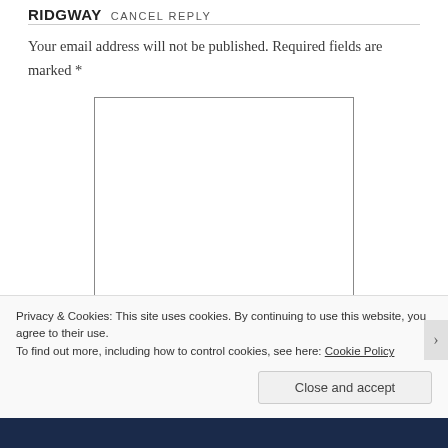RIDGWAY CANCEL REPLY
Your email address will not be published. Required fields are marked *
[Figure (screenshot): A text area input field with a resize handle in the bottom-right corner]
Privacy & Cookies: This site uses cookies. By continuing to use this website, you agree to their use.
To find out more, including how to control cookies, see here: Cookie Policy
Close and accept